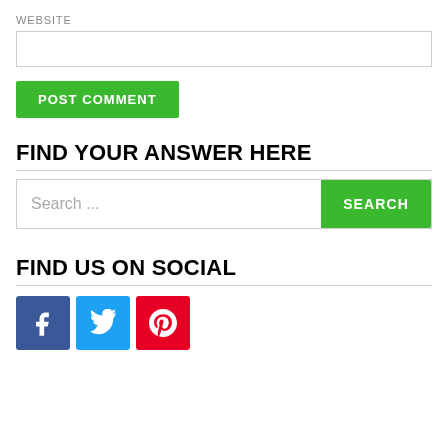WEBSITE
[Figure (other): Empty text input field for website URL]
[Figure (other): Green POST COMMENT button]
FIND YOUR ANSWER HERE
[Figure (other): Search bar with placeholder 'Search ...' and green SEARCH button]
FIND US ON SOCIAL
[Figure (other): Social media icons: Facebook (blue), Twitter (light blue), Pinterest (red)]